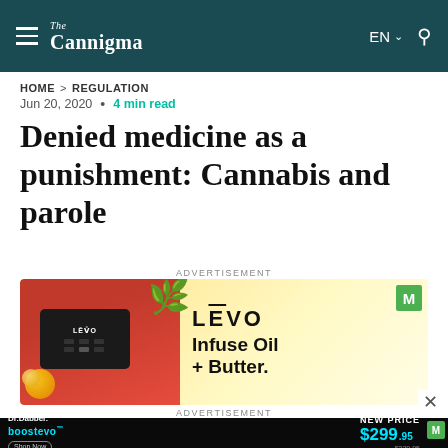The Cannigma — EN
HOME > REGULATION
Jun 20, 2020 • 4 min read
Denied medicine as a punishment: Cannabis and parole
ADVERTISEMENT
[Figure (photo): LEVO brand advertisement showing a red oil infuser device with green leaves and the tagline 'Infuse Oil + Butter.']
ADVERTISEMENT
[Figure (photo): Dr.Dabber boostevo advertisement showing NEW PRICE $299.95 (was $329.95) with Shop Now button]